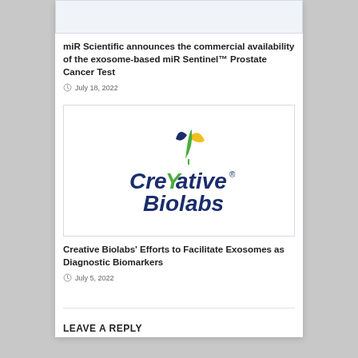[Figure (screenshot): Top portion of a card/article image (partially visible, light blue/white background)]
miR Scientific announces the commercial availability of the exosome-based miR Sentinel™ Prostate Cancer Test
July 18, 2022
[Figure (logo): Creative Biolabs logo with yellow and green leaf motif above the company name in dark blue text]
Creative Biolabs' Efforts to Facilitate Exosomes as Diagnostic Biomarkers
July 5, 2022
LEAVE A REPLY